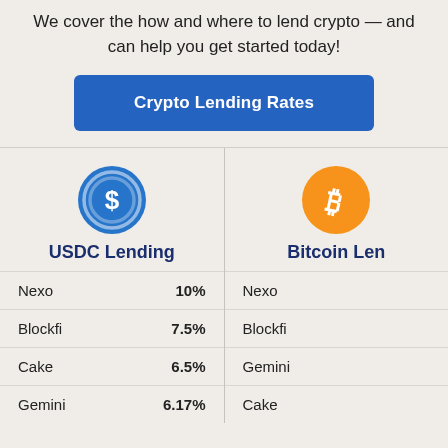We cover the how and where to lend crypto — and can help you get started today!
Crypto Lending Rates
[Figure (illustration): USDC coin icon (blue circle with dollar sign)]
USDC Lending
| Provider | Rate |
| --- | --- |
| Nexo | 10% |
| Blockfi | 7.5% |
| Cake | 6.5% |
| Gemini | 6.17% |
[Figure (illustration): Bitcoin coin icon (orange circle with B symbol)]
Bitcoin Lending
| Provider |
| --- |
| Nexo |
| Blockfi |
| Gemini |
| Cake |